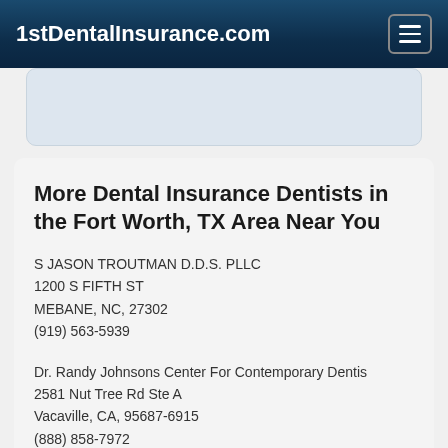1stDentalInsurance.com
More Dental Insurance Dentists in the Fort Worth, TX Area Near You
S JASON TROUTMAN D.D.S. PLLC
1200 S FIFTH ST
MEBANE, NC, 27302
(919) 563-5939
Dr. Randy Johnsons Center For Contemporary Dentis
2581 Nut Tree Rd Ste A
Vacaville, CA, 95687-6915
(888) 858-7972
Doctor - Activate Your Free 1stDentalInsurance Directory Listing
C W HOLLAND D.D.S. PA